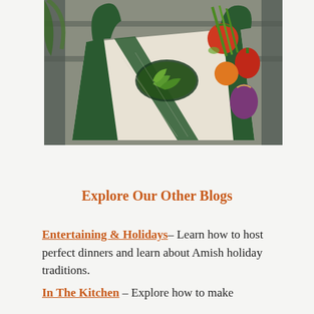[Figure (photo): A white canvas tote bag with dark green handles and a farmers market logo/emblem, lying flat with colorful fresh vegetables (tomatoes, red onion, green onions, bell pepper, citrus) arranged around it on a white surface with green plants in background.]
Explore Our Other Blogs
Entertaining & Holidays– Learn how to host perfect dinners and learn about Amish holiday traditions.
In The Kitchen – Explore how to make